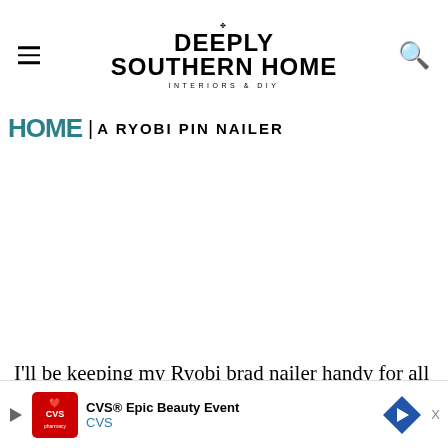DEEPLY SOUTHERN HOME — INTERIORS & DIY
HOME | A RYOBI PIN NAILER
I'll be keeping my Ryobi brad nailer handy for all kinds of projects, but the pin nailer
[Figure (other): CVS Epic Beauty Event advertisement banner at the bottom of the page]